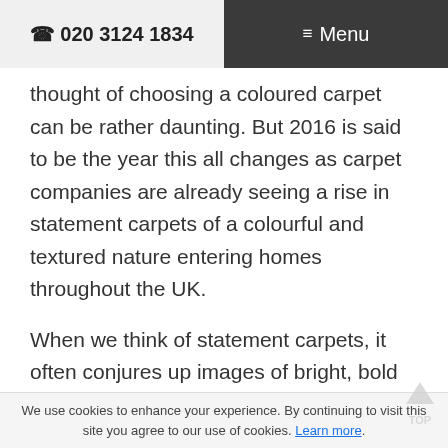☎ 020 3124 1834  ≡ Menu
thought of choosing a coloured carpet can be rather daunting. But 2016 is said to be the year this all changes as carpet companies are already seeing a rise in statement carpets of a colourful and textured nature entering homes throughout the UK.
When we think of statement carpets, it often conjures up images of bright, bold and sometimes garish coloured and patterned carpets, yet this doesn't have to be the case. A statement can be made in the home without overdoing it and carpets should be considered as part of making the statement, rather than relying
We use cookies to enhance your experience. By continuing to visit this site you agree to our use of cookies. Learn more.